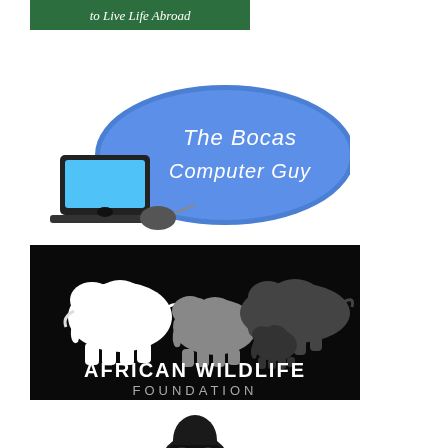[Figure (logo): Green banner/book cover with white text 'to Live Life Abroad']
[Figure (logo): Blue oval logo with laptop image and white text 'The Bocas Computer Guy']
[Figure (logo): African Wildlife Foundation logo: black background with white/grey elephant silhouettes in decreasing size, bold white text 'AFRICAN WILDLIFE FOUNDATION']
[Figure (illustration): Black silhouette of a person using binoculars, partially visible at bottom of page]